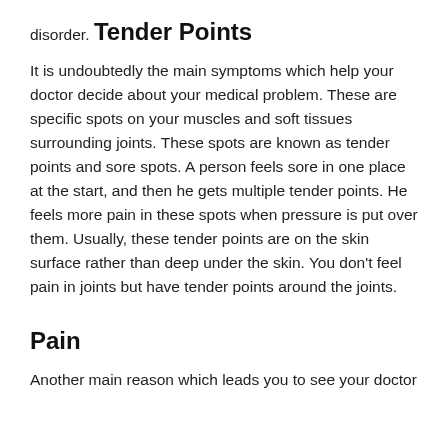disorder.
Tender Points
It is undoubtedly the main symptoms which help your doctor decide about your medical problem. These are specific spots on your muscles and soft tissues surrounding joints. These spots are known as tender points and sore spots. A person feels sore in one place at the start, and then he gets multiple tender points. He feels more pain in these spots when pressure is put over them. Usually, these tender points are on the skin surface rather than deep under the skin. You don't feel pain in joints but have tender points around the joints.
Pain
Another main reason which leads you to see your doctor